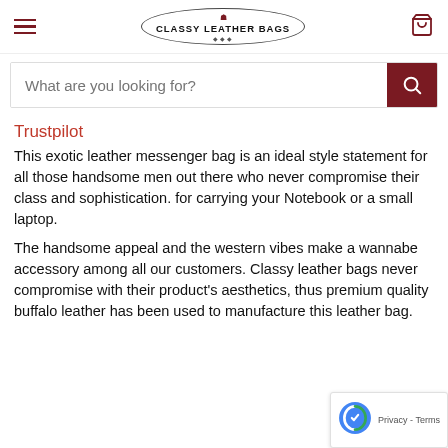[Figure (logo): Classy Leather Bags logo with oval border and hamburger menu icon on left, shopping cart icon on right]
[Figure (screenshot): Search bar with placeholder text 'What are you looking for?' and dark red search button with magnifying glass icon]
Trustpilot
This exotic leather messenger bag is an ideal style statement for all those handsome men out there who never compromise their class and sophistication. for carrying your Notebook or a small laptop.
The handsome appeal and the western vibes make a wannabe accessory among all our customers. Classy leather bags never compromise with their product's aesthetics, thus premium quality buffalo leather has been used to manufacture this leather bag.